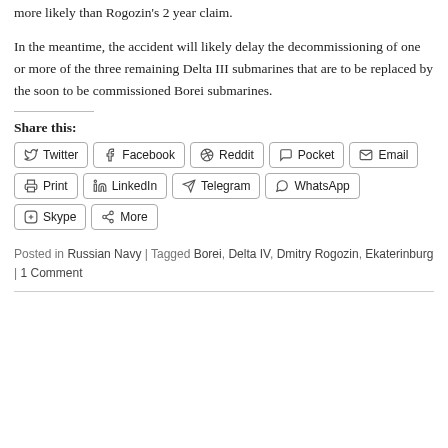more likely than Rogozin's 2 year claim.
In the meantime, the accident will likely delay the decommissioning of one or more of the three remaining Delta III submarines that are to be replaced by the soon to be commissioned Borei submarines.
Share this:
Twitter
Facebook
Reddit
Pocket
Email
Print
LinkedIn
Telegram
WhatsApp
Skype
More
Posted in Russian Navy | Tagged Borei, Delta IV, Dmitry Rogozin, Ekaterinburg | 1 Comment